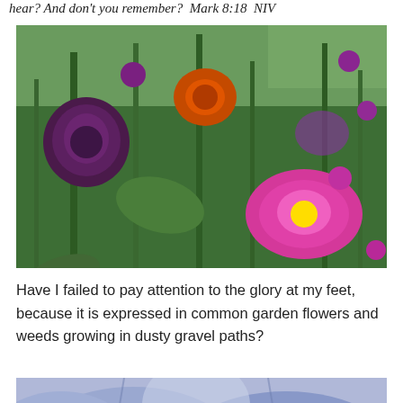hear? And don't you remember?  Mark 8:18  NIV
[Figure (photo): Close-up photograph of a colorful garden with zinnias and other flowers in shades of purple, magenta, orange, and red, surrounded by green stems and leaves.]
Have I failed to pay attention to the glory at my feet, because it is expressed in common garden flowers and weeds growing in dusty gravel paths?
[Figure (photo): Partial view of a blue-purple flower, cropped at the bottom of the page.]